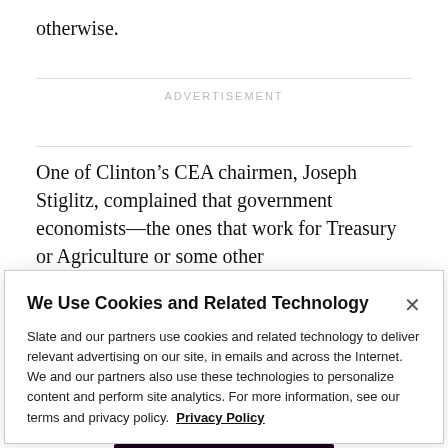otherwise.
ADVERTISEMENT
One of Clinton’s CEA chairmen, Joseph Stiglitz, complained that government economists—the ones that work for Treasury or Agriculture or some other
We Use Cookies and Related Technology
Slate and our partners use cookies and related technology to deliver relevant advertising on our site, in emails and across the Internet. We and our partners also use these technologies to personalize content and perform site analytics. For more information, see our terms and privacy policy.  Privacy Policy
OK